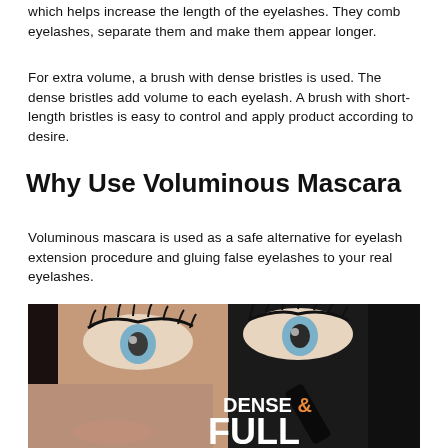which helps increase the length of the eyelashes. They comb eyelashes, separate them and make them appear longer.
For extra volume, a brush with dense bristles is used. The dense bristles add volume to each eyelash. A brush with short-length bristles is easy to control and apply product according to desire.
Why Use Voluminous Mascara
Voluminous mascara is used as a safe alternative for eyelash extension procedure and gluing false eyelashes to your real eyelashes.
[Figure (photo): Close-up photo of a woman's eyes with voluminous mascara applied, with mascara wand visible and text overlay reading DENSE & FULL]